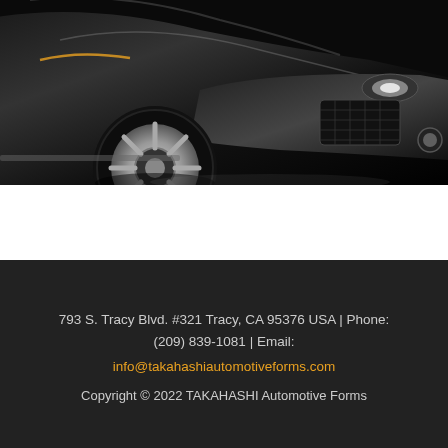[Figure (photo): Front view of a black luxury/sports car with chrome wheels on a light background, shot from a low angle showing the wheel, bumper, and headlights.]
793 S. Tracy Blvd. #321 Tracy, CA 95376 USA | Phone: (209) 839-1081 | Email:
info@takahashiautomotiveforms.com
Copyright © 2022 TAKAHASHI Automotive Forms